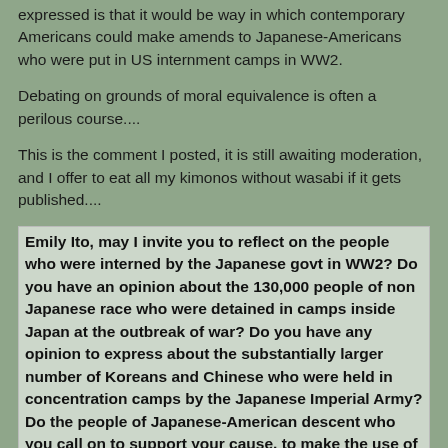expressed is that it would be way in which contemporary Americans could make amends to Japanese-Americans who were put in US internment camps in WW2.
Debating on grounds of moral equivalence is often a perilous course....
This is the comment I posted, it is still awaiting moderation, and I offer to eat all my kimonos without wasabi if it gets published....
Emily Ito, may I invite you to reflect on the people who were interned by the Japanese govt in WW2? Do you have an opinion about the 130,000 people of non Japanese race who were detained in camps inside Japan at the outbreak of war? Do you have any opinion to express about the substantially larger number of Koreans and Chinese who were held in concentration camps by the Japanese Imperial Army? Do the people of Japanese-American descent who you call on to support your cause, to make the use of the word kimono an